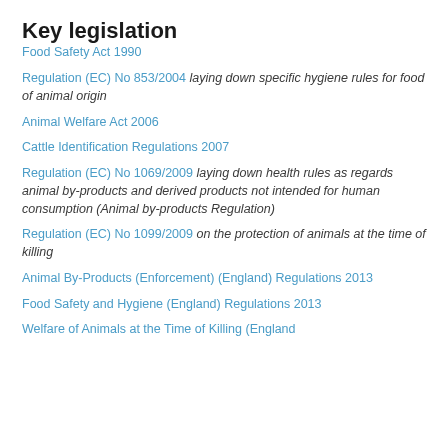Key legislation
Food Safety Act 1990
Regulation (EC) No 853/2004 laying down specific hygiene rules for food of animal origin
Animal Welfare Act 2006
Cattle Identification Regulations 2007
Regulation (EC) No 1069/2009 laying down health rules as regards animal by-products and derived products not intended for human consumption (Animal by-products Regulation)
Regulation (EC) No 1099/2009 on the protection of animals at the time of killing
Animal By-Products (Enforcement) (England) Regulations 2013
Food Safety and Hygiene (England) Regulations 2013
Welfare of Animals at the Time of Killing (England)...